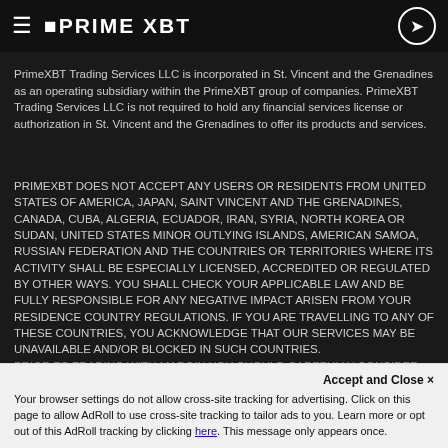PRIME XBT navigation bar
Seek independent advice if necessary.
This website and its services are provided by PrimeXBT Trading Services LLC.
PrimeXBT Trading Services LLC is incorporated in St. Vincent and the Grenadines as an operating subsidiary within the PrimeXBT group of companies. PrimeXBT Trading Services LLC is not required to hold any financial services license or authorization in St. Vincent and the Grenadines to offer its products and services.
PRIMEXBT DOES NOT ACCEPT ANY USERS OR RESIDENTS FROM UNITED STATES OF AMERICA, JAPAN, SAINT VINCENT AND THE GRENADINES, CANADA, CUBA, ALGERIA, ECUADOR, IRAN, SYRIA, NORTH KOREA OR SUDAN, UNITED STATES MINOR OUTLYING ISLANDS, AMERICAN SAMOA, RUSSIAN FEDERATION AND THE COUNTRIES OR TERRITORIES WHERE ITS ACTIVITY SHALL BE ESPECIALLY LICENSED, ACCREDITED OR REGULATED BY OTHER WAYS. YOU SHALL CHECK YOUR APPLICABLE LAW AND BE FULLY RESPONSIBLE FOR ANY NEGATIVE IMPACT ARISEN FROM YOUR RESIDENCE COUNTRY REGULATIONS. IF YOU ARE TRAVELLING TO ANY OF THESE COUNTRIES, YOU ACKNOWLEDGE THAT OUR SERVICES MAY BE UNAVAILABLE AND/OR BLOCKED IN SUCH COUNTRIES.
PRIOR TO TRADING WITH MARGIN YOU SHOULD CAREFULLY CONSIDER YOUR OBJECTIVES, FINANCIAL SITUATION, NEEDS AND LEVEL...
Your browser settings do not allow cross-site tracking for advertising. Click on this page to allow AdRoll to use cross-site tracking to tailor ads to you. Learn more or opt out of this AdRoll tracking by clicking here. This message only appears once.